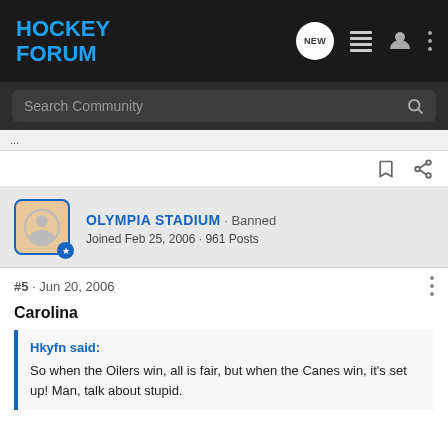HOCKEY FORUM
Search Community
...
OLYMPIA STADIUM · Banned
Joined Feb 25, 2006 · 961 Posts
#5 · Jun 20, 2006
Carolina
Hkyfn said:
So when the Oilers win, all is fair, but when the Canes win, it's set up! Man, talk about stupid.